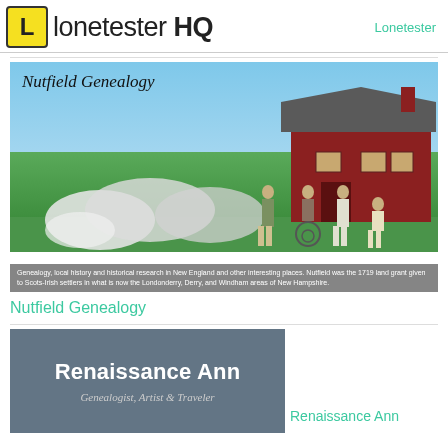lonetester HQ  Lonetester
[Figure (photo): Nutfield Genealogy blog header image showing a colonial reenactment with musket smoke in front of a red barn, with caption about genealogy, local history and historical research in New England.]
Nutfield Genealogy
[Figure (illustration): Renaissance Ann blog card — grey background with white bold text 'Renaissance Ann' and italic subtitle 'Genealogist, Artist & Traveler']
Renaissance Ann